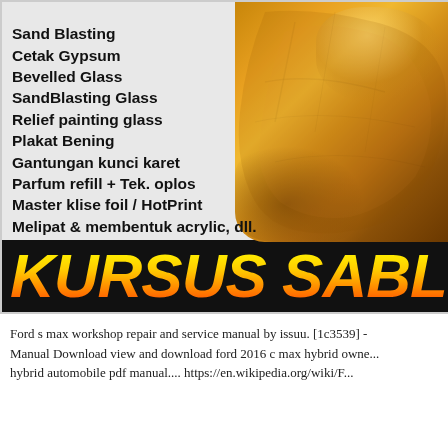Klise HotPrint
Sand Blasting
Cetak Gypsum
Bevelled Glass
SandBlasting Glass
Relief painting glass
Plakat Bening
Gantungan kunci karet
Parfum refill + Tek. oplos
Master klise foil / HotPrint
Melipat & membentuk acrylic, dll.
[Figure (photo): Close-up photo of a golden-brown textured object, possibly a croissant or similar baked good, occupying the right side of the upper section]
KURSUS SABLO
Ford s max workshop repair and service manual by issuu. [1c3539] - Manual Download view and download ford 2016 c max hybrid owne... hybrid automobile pdf manual.... https://en.wikipedia.org/wiki/F...